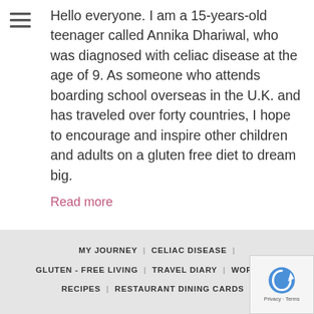[Figure (other): Hamburger menu icon (three horizontal lines)]
Hello everyone. I am a 15-years-old teenager called Annika Dhariwal, who was diagnosed with celiac disease at the age of 9. As someone who attends boarding school overseas in the U.K. and has traveled over forty countries, I hope to encourage and inspire other children and adults on a gluten free diet to dream big.
Read more
MY JOURNEY | CELIAC DISEASE | GLUTEN - FREE LIVING | TRAVEL DIARY | WORKSHO... RECIPES | RESTAURANT DINING CARDS |